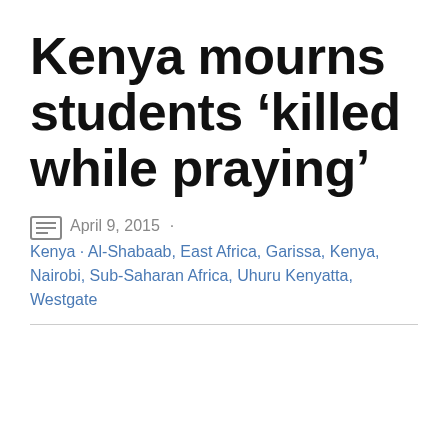Kenya mourns students ‘killed while praying’
April 9, 2015 · Kenya · Al-Shabaab, East Africa, Garissa, Kenya, Nairobi, Sub-Saharan Africa, Uhuru Kenyatta, Westgate